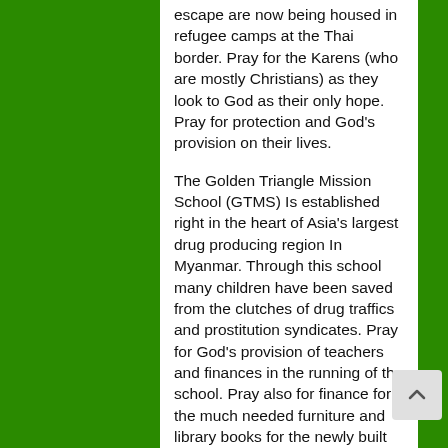escape are now being housed in refugee camps at the Thai border. Pray for the Karens (who are mostly Christians) as they look to God as their only hope. Pray for protection and God's provision on their lives.
The Golden Triangle Mission School (GTMS) Is established right in the heart of Asia's largest drug producing region In Myanmar. Through this school many children have been saved from the clutches of drug traffics and prostitution syndicates. Pray for God's provision of teachers and finances in the running of the school. Pray also for finance for the much needed furniture and library books for the newly built dormitory.
Plans are in the pipeline to build a